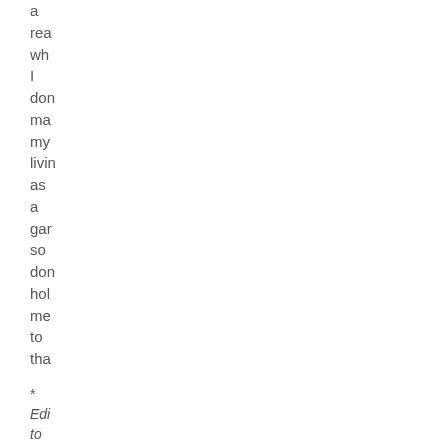a rea wh I don ma my livin as a gar so don hol me to tha
* Edi to add I jus